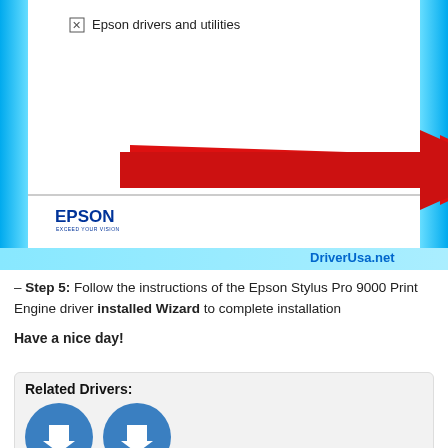[Figure (screenshot): Epson installer dialog screenshot showing 'Epson drivers and utilities' checkbox, a red arrow pointing to an Install button, with EPSON logo on bottom left, and Install/Exit buttons. DriverUsa.net watermark in bottom right corner.]
– Step 5: Follow the instructions of the Epson Stylus Pro 9000 Print Engine driver installed Wizard to complete installation
Have a nice day!
Related Drivers: